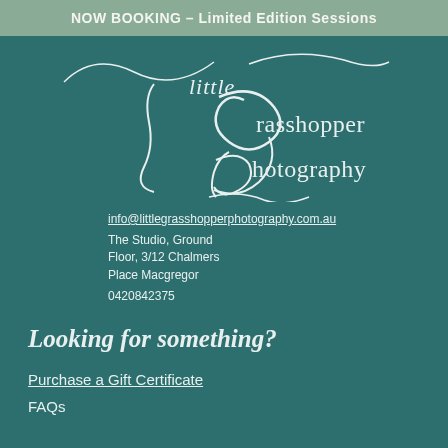NOW BOOKING – Limited Edition Sessions
[Figure (logo): Little Grasshopper Photography logo with decorative script lettering and swirl lines in white on teal background]
info@littlegrasshopperphotography.com.au
The Studio, Ground Floor, 3/12 Chalmers Place Macgregor
0420842375
Looking for something?
Purchase a Gift Certificate
FAQs